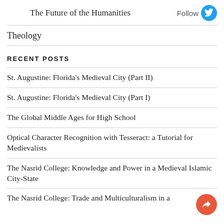The Future of the Humanities
Theology
RECENT POSTS
St. Augustine: Florida's Medieval City (Part II)
St. Augustine: Florida's Medieval City (Part I)
The Global Middle Ages for High School
Optical Character Recognition with Tesseract: a Tutorial for Medievalists
The Nasrid College: Knowledge and Power in a Medieval Islamic City-State
The Nasrid College: Trade and Multiculturalism in a